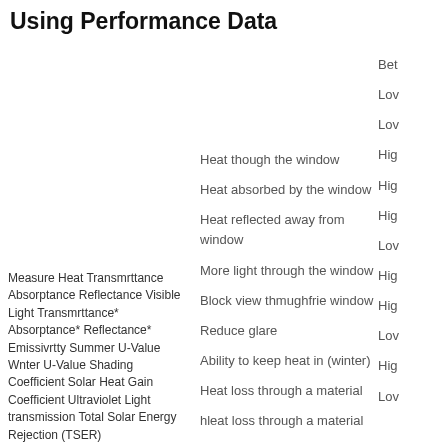Using Performance Data
Measure Heat Transmrttance Absorptance Reflectance Visible Light Transmrttance* Absorptance* Reflectance* Emissivrtty Summer U-Value Wnter U-Value Shading Coefficient Solar Heat Gain Coefficient Ultraviolet Light transmission Total Solar Energy Rejection (TSER)
Heat though the window
Heat absorbed by the window
Heat reflected away from window
More light through the window
Block view thmughfrie window
Reduce glare
Ability to keep heat in (winter)
Heat loss through a material
hleat loss through a material
Bet
Lov
Lov
Hig
Hig
Hig
Lov
Hig
Hig
Lov
Hig
Lov